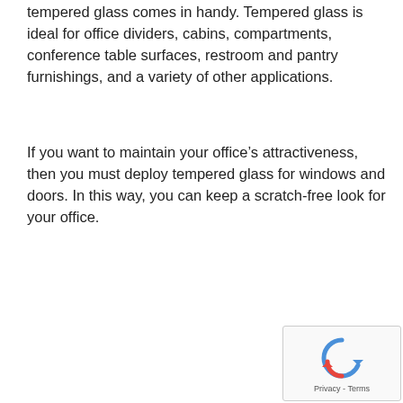tempered glass comes in handy. Tempered glass is ideal for office dividers, cabins, compartments, conference table surfaces, restroom and pantry furnishings, and a variety of other applications.
If you want to maintain your office’s attractiveness, then you must deploy tempered glass for windows and doors. In this way, you can keep a scratch-free look for your office.
[Figure (other): reCAPTCHA widget with circular arrow icon and Privacy - Terms text]